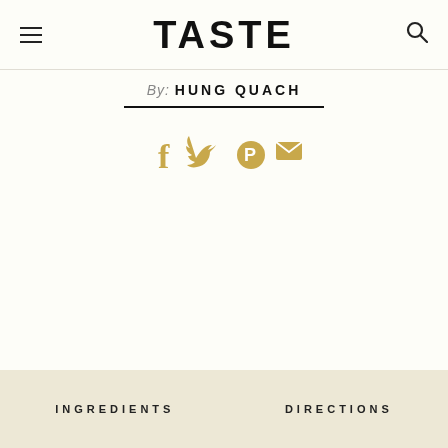TASTE
By: HUNG QUACH
[Figure (infographic): Social media share icons: Facebook, Twitter, Pinterest, Email — all in gold/tan color]
INGREDIENTS    DIRECTIONS